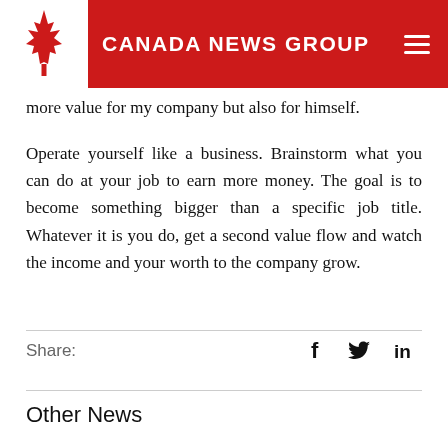CANADA NEWS GROUP
more value for my company but also for himself.
Operate yourself like a business. Brainstorm what you can do at your job to earn more money. The goal is to become something bigger than a specific job title. Whatever it is you do, get a second value flow and watch the income and your worth to the company grow.
Share:
Other News